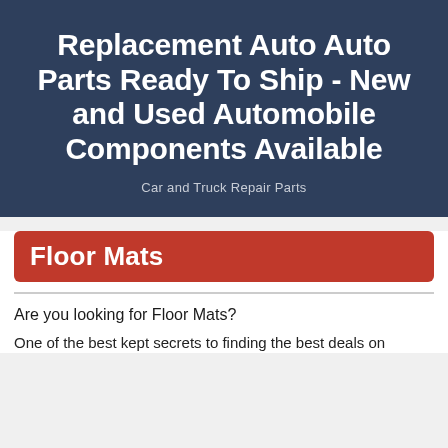Replacement Auto Auto Parts Ready To Ship - New and Used Automobile Components Available
Car and Truck Repair Parts
Floor Mats
Are you looking for Floor Mats?
One of the best kept secrets to finding the best deals on